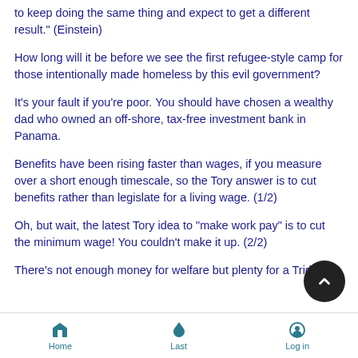to keep doing the same thing and expect to get a different result." (Einstein)
How long will it be before we see the first refugee-style camp for those intentionally made homeless by this evil government?
It's your fault if you're poor. You should have chosen a wealthy dad who owned an off-shore, tax-free investment bank in Panama.
Benefits have been rising faster than wages, if you measure over a short enough timescale, so the Tory answer is to cut benefits rather than legislate for a living wage. (1/2)
Oh, but wait, the latest Tory idea to "make work pay" is to cut the minimum wage! You couldn't make it up. (2/2)
There's not enough money for welfare but plenty for a Trident
Home   Last   Log in